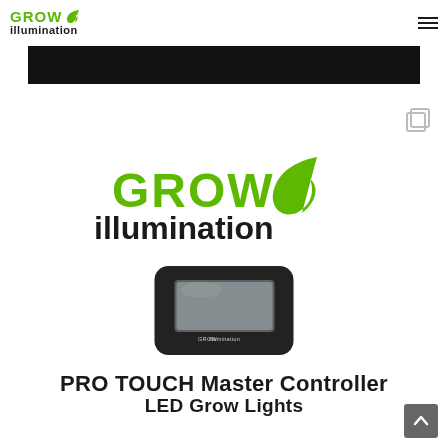GROW illumination
[Figure (logo): Grow Illumination logo with green leaf icon and text 'GROW illumination']
[Figure (photo): Black rectangular PRO TOUCH Master Controller device with small LCD screen]
PRO TOUCH Master Controller LED Grow Lights
[Figure (illustration): Copy/duplicate icon in light gray outline style]